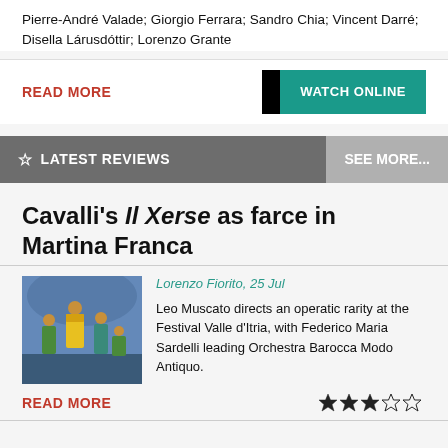Pierre-André Valade; Giorgio Ferrara; Sandro Chia; Vincent Darré; Disella Lárusdóttir; Lorenzo Grante
READ MORE
WATCH ONLINE
LATEST REVIEWS
SEE MORE...
Cavalli's Il Xerse as farce in Martina Franca
[Figure (photo): Opera performance scene with performers in colorful costumes on stage]
Lorenzo Fiorito, 25 Jul
Leo Muscato directs an operatic rarity at the Festival Valle d'Itria, with Federico Maria Sardelli leading Orchestra Barocca Modo Antiquo.
READ MORE
3 out of 5 stars rating